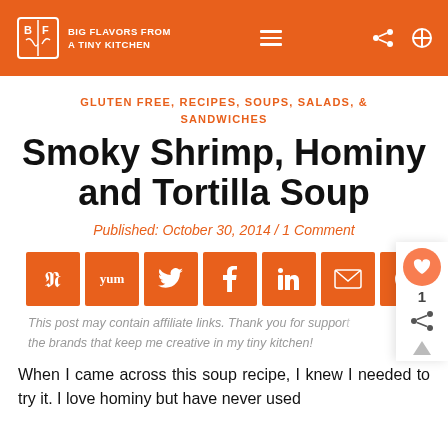BIG FLAVORS FROM A TINY KITCHEN
GLUTEN FREE, RECIPES, SOUPS, SALADS, & SANDWICHES
Smoky Shrimp, Hominy and Tortilla Soup
Published: October 30, 2014 / 1 Comment
[Figure (other): Social sharing buttons: Pinterest, Yummly, Twitter, Facebook, LinkedIn, Email, Print]
This post may contain affiliate links. Thank you for supporting the brands that keep me creative in my tiny kitchen!
When I came across this soup recipe, I knew I needed to try it. I love hominy but have never used